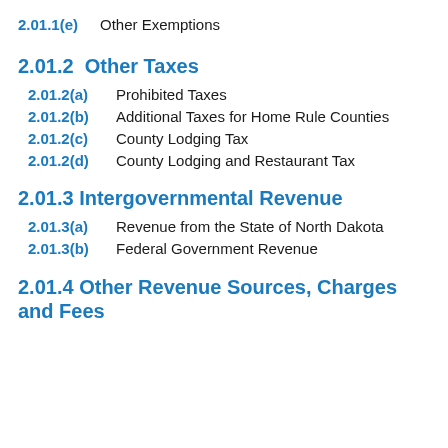2.01.1(e)  Other Exemptions
2.01.2  Other Taxes
2.01.2(a)  Prohibited Taxes
2.01.2(b)  Additional Taxes for Home Rule Counties
2.01.2(c)  County Lodging Tax
2.01.2(d)  County Lodging and Restaurant Tax
2.01.3 Intergovernmental Revenue
2.01.3(a)  Revenue from the State of North Dakota
2.01.3(b)  Federal Government Revenue
2.01.4 Other Revenue Sources, Charges and Fees